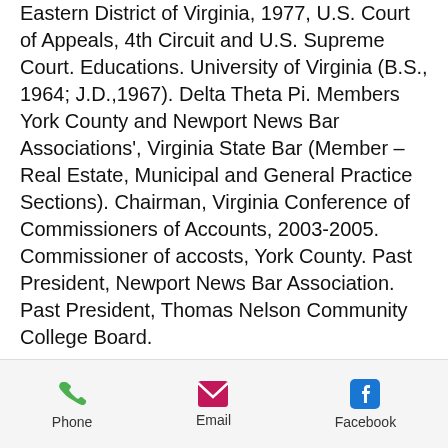Eastern District of Virginia, 1977, U.S. Court of Appeals, 4th Circuit and U.S. Supreme Court. Educations. University of Virginia (B.S., 1964; J.D.,1967). Delta Theta Pi. Members York County and Newport News Bar Associations', Virginia State Bar (Member – Real Estate, Municipal and General Practice Sections). Chairman, Virginia Conference of Commissioners of Accounts, 2003-2005. Commissioner of accosts, York County. Past President, Newport News Bar Association. Past President, Thomas Nelson Community College Board.
2008 Legal Elite
Phone | Email | Facebook